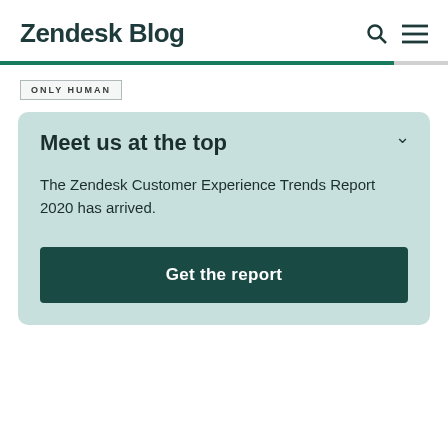Zendesk Blog
ONLY HUMAN
Meet us at the top
The Zendesk Customer Experience Trends Report 2020 has arrived.
Get the report